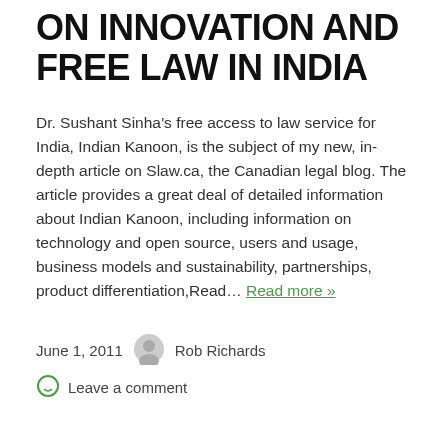ON INNOVATION AND FREE LAW IN INDIA
Dr. Sushant Sinha’s free access to law service for India, Indian Kanoon, is the subject of my new, in-depth article on Slaw.ca, the Canadian legal blog. The article provides a great deal of detailed information about Indian Kanoon, including information on technology and open source, users and usage, business models and sustainability, partnerships, product differentiation,Read… Read more »
June 1, 2011   Rob Richards
Leave a comment